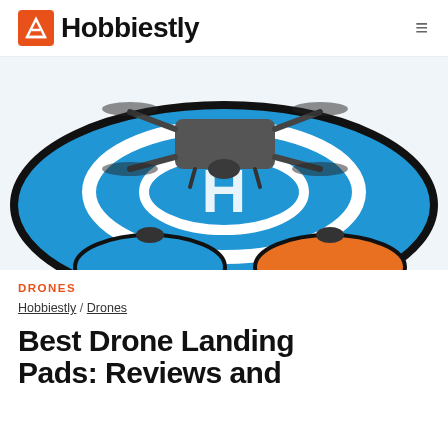Hobbiestly
[Figure (photo): A drone sitting on a round blue landing pad with a white H symbol and circle markings. Two smaller landing pads (one blue, one orange) are partially visible at the bottom.]
DRONES
Hobbiestly / Drones
Best Drone Landing Pads: Reviews and